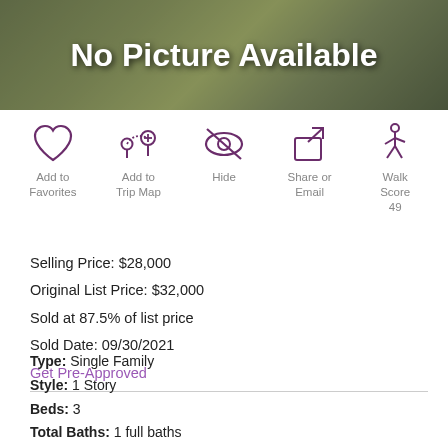[Figure (photo): No Picture Available banner with green foliage background]
[Figure (infographic): Action icons row: Add to Favorites (heart), Add to Trip Map (map pins), Hide (eye with slash), Share or Email (share arrow), Walk Score 49 (walking figure)]
Selling Price: $28,000
Original List Price: $32,000
Sold at 87.5% of list price
Sold Date: 09/30/2021
Get Pre-Approved
Type: Single Family
Style: 1 Story
Beds: 3
Total Baths: 1 full baths
Square Feet: 960 sqft